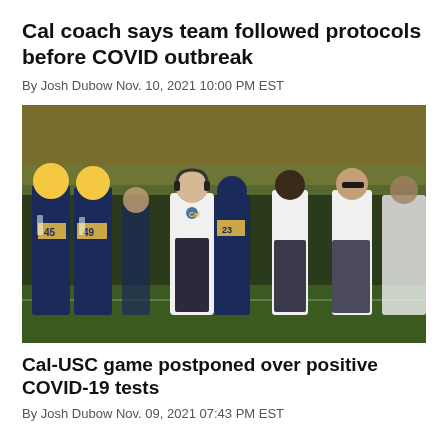Cal coach says team followed protocols before COVID outbreak
By Josh Dubow Nov. 10, 2021 10:00 PM EST
[Figure (photo): California football team and coaches standing on the sideline during a game. Players in navy and gold uniforms with numbers 45 and 49 visible, head coach in white jacket with headset in the center, several coaches in white shirts on the right.]
Cal-USC game postponed over positive COVID-19 tests
By Josh Dubow Nov. 09, 2021 07:43 PM EST